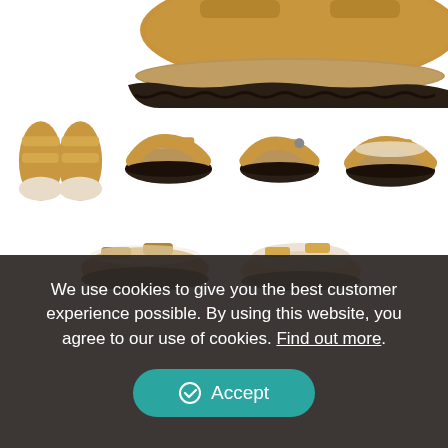[Figure (photo): Close-up of the bottom/sole of a brown suede Birkenstock sandal with dark rubber sole, viewed from above at an angle, on white background]
[Figure (photo): Four thumbnail views of brown suede Birkenstock two-strap sandals with shearling lining: top-down view showing pair, side profile view, front-angle view, and back-angle view]
[Figure (photo): Two more partial thumbnail views of Birkenstock sandals, partially obscured by cookie consent bar]
We use cookies to give you the best customer experience possible. By using this website, you agree to our use of cookies. Find out more.
Accept